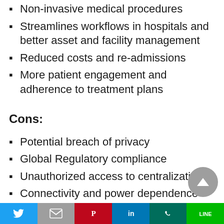Non-invasive medical procedures
Streamlines workflows in hospitals and better asset and facility management
Reduced costs and re-admissions
More patient engagement and adherence to treatment plans
Cons:
Potential breach of privacy
Global Regulatory compliance
Unauthorized access to centralization
Connectivity and power dependence
Expensive to implement